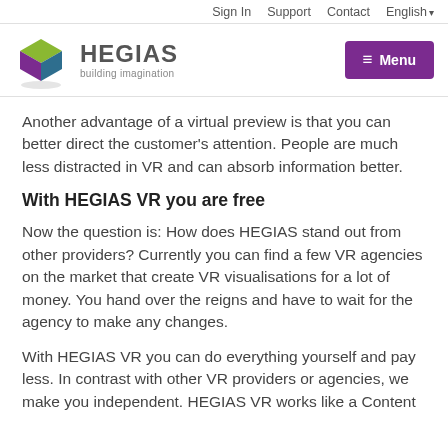Sign In  Support  Contact  English
[Figure (logo): HEGIAS logo with geometric colored shape and text 'HEGIAS building imagination']
Another advantage of a virtual preview is that you can better direct the customer's attention. People are much less distracted in VR and can absorb information better.
With HEGIAS VR you are free
Now the question is: How does HEGIAS stand out from other providers? Currently you can find a few VR agencies on the market that create VR visualisations for a lot of money. You hand over the reigns and have to wait for the agency to make any changes.
With HEGIAS VR you can do everything yourself and pay less. In contrast with other VR providers or agencies, we make you independent. HEGIAS VR works like a Content